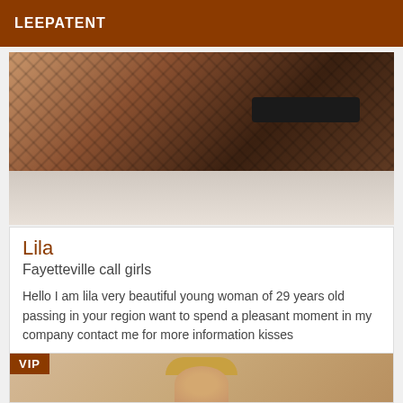LEEPATENT
[Figure (photo): Photo of a person in fishnet stockings and black heels on a bed]
Lila
Fayetteville call girls
Hello I am lila very beautiful young woman of 29 years old passing in your region want to spend a pleasant moment in my company contact me for more information kisses
[Figure (photo): VIP listing photo showing a blonde person, partially visible]